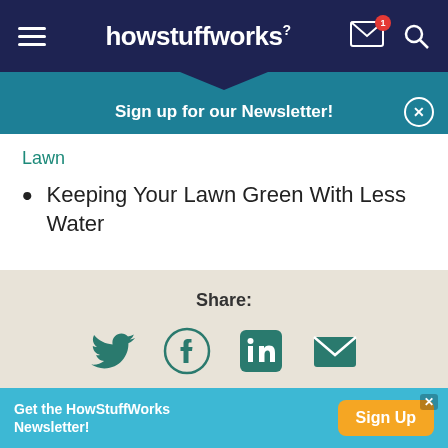howstuffworks
Sign up for our Newsletter!
Lawn
Keeping Your Lawn Green With Less Water
Share:
[Figure (infographic): Social share icons: Twitter, Facebook, LinkedIn, Email]
Citation
Get the HowStuffWorks Newsletter! Sign Up